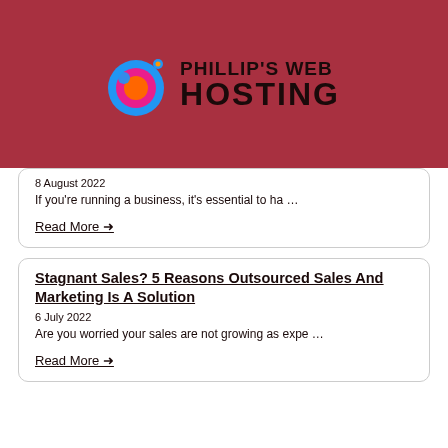PHILLIP'S WEB HOSTING
8 August 2022
If you're running a business, it's essential to ha …
Read More →
Stagnant Sales? 5 Reasons Outsourced Sales And Marketing Is A Solution
6 July 2022
Are you worried your sales are not growing as expe …
Read More →